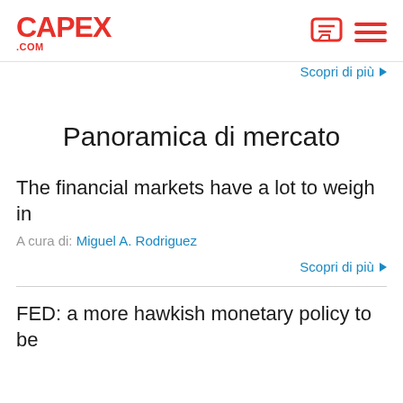CAPEX.COM
Scopri di più ▶
Panoramica di mercato
The financial markets have a lot to weigh in
A cura di: Miguel A. Rodriguez
Scopri di più ▶
FED: a more hawkish monetary policy to be